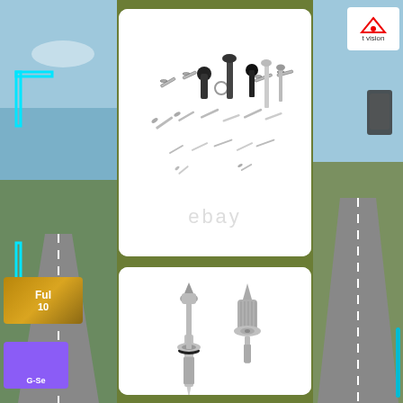[Figure (photo): Collection of various screws, bolts, and fasteners spread out on white background with eBay watermark]
[Figure (photo): Close-up of two metal carburetor needle valves or fuel inlet valves, chrome/silver colored]
[Figure (photo): Left side panel with road/driving scene background, cyan bracket overlay, CAR text, Full HD badge, G-Sensor badge]
[Figure (photo): Right side panel with road scene, vision logo badge, teal vertical line]